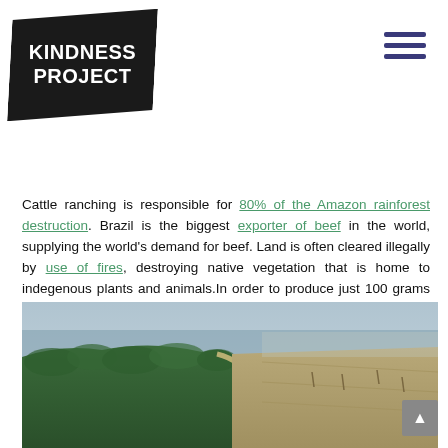KINDNESS PROJECT
Cattle ranching is responsible for 80% of the Amazon rainforest destruction. Brazil is the biggest exporter of beef in the world, supplying the world's demand for beef. Land is often cleared illegally by use of fires, destroying native vegetation that is home to indegenous plants and animals.In order to produce just 100 grams of beef an average of 164m² of land is required.
[Figure (photo): Aerial photograph showing the stark boundary between Amazon rainforest (left, dense green canopy) and deforested land (right, brown cleared land), with a dirt road running through the middle.]